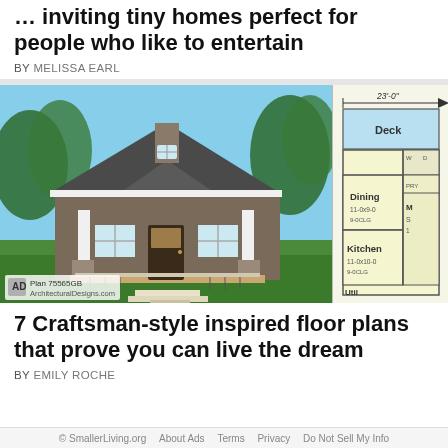… inviting tiny homes perfect for people who like to entertain
BY MELISSA EARL
[Figure (photo): Craftsman-style tiny house exterior rendering with covered porch and stone pillars, alongside a floor plan showing Deck, Dining (11-0x9-0, 9-0CLG), Kitchen (11-0x10-0, 9-0CLG), and partial rooms. Plan 75565GB ArchitecturalDesigns.com. Dimension 23'-0" shown.]
7 Craftsman-style inspired floor plans that prove you can live the dream
BY EMILY ROCHE
© SmallerLiving.org   About Ads   Terms   Privacy   Do Not Sell My Info